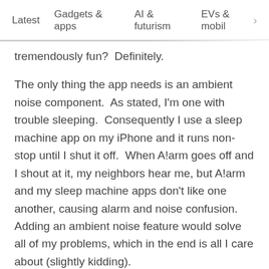Latest   Gadgets & apps   AI & futurism   EVs & mobil  >
tremendously fun?  Definitely.
The only thing the app needs is an ambient noise component.  As stated, I'm one with trouble sleeping.  Consequently I use a sleep machine app on my iPhone and it runs non-stop until I shut it off.  When A!arm goes off and I shout at it, my neighbors hear me, but A!arm and my sleep machine apps don't like one another, causing alarm and noise confusion.  Adding an ambient noise feature would solve all of my problems, which in the end is all I care about (slightly kidding).
A!arm is a wonderful iPhone/iPod Touch alarm option that's well-designed, feature-rich and